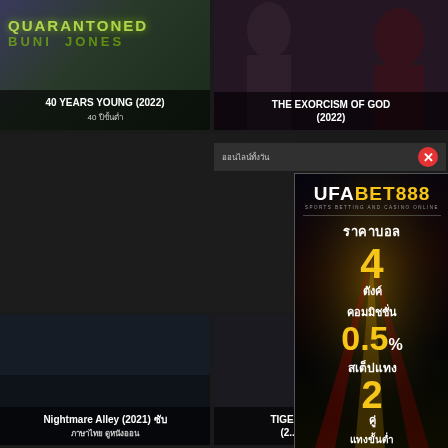[Figure (screenshot): Movie card: 40 YEARS YOUNG (2022) with Thai subtitle text, dark background with yellow-green stylized text overlay]
[Figure (screenshot): Movie card: THE EXORCISM OF GOD (2022) with dark atmospheric background and persons]
[Figure (screenshot): Movie card: Nightmare Alley (2021) with Thai subtitle, dark background]
[Figure (screenshot): Movie card: TIGERS (2022) partial, dark background]
ออนไลน์ทั้งวัน
[Figure (advertisement): UFABET888 Sports Betting and Casino Online advertisement banner in Thai. Text: ราคาบอล 4 ตังค์ คอมมิชชั่น 0.5% สเต็ปแทง 2คู่ แทงขั้นต่ำ]